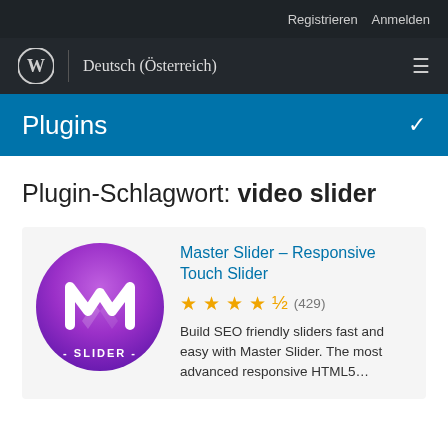Registrieren   Anmelden
WordPress Logo | Deutsch (Österreich)
Plugins
Plugin-Schlagwort: video slider
[Figure (logo): Master Slider plugin logo — circular gradient purple to pink with white M letter and '- SLIDER -' text below]
Master Slider – Responsive Touch Slider
★★★★½ (429)
Build SEO friendly sliders fast and easy with Master Slider. The most advanced responsive HTML5…